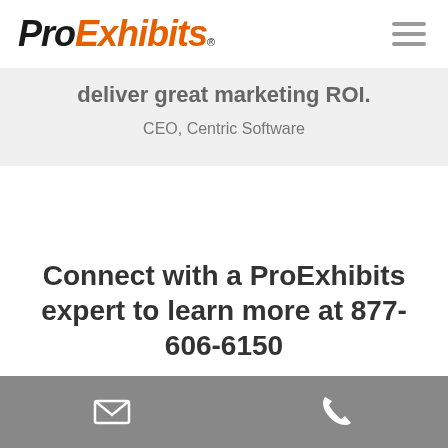[Figure (logo): ProExhibits logo with 'Pro' in black italic bold and 'Exhibits' in orange italic bold, with registered trademark symbol]
[Figure (illustration): Hamburger menu icon — three horizontal grey lines stacked]
deliver great marketing ROI.
CEO, Centric Software
Connect with a ProExhibits expert to learn more at 877-606-6150
CONTACT US
[Figure (illustration): Footer bar with email envelope icon on left and phone icon on right, both white on grey background]